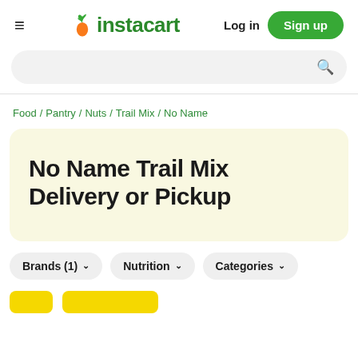Instacart — Log in | Sign up
Food / Pantry / Nuts / Trail Mix / No Name
No Name Trail Mix Delivery or Pickup
Brands (1)
Nutrition
Categories